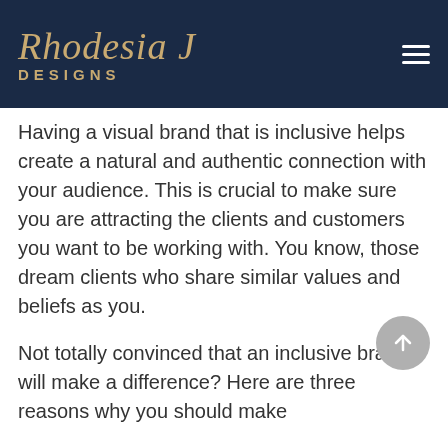[Figure (logo): Rhodesia J Designs logo with gold italic serif text on dark navy background, with hamburger menu icon top right]
Having a visual brand that is inclusive helps create a natural and authentic connection with your audience. This is crucial to make sure you are attracting the clients and customers you want to be working with. You know, those dream clients who share similar values and beliefs as you.
Not totally convinced that an inclusive brand will make a difference? Here are three reasons why you should make